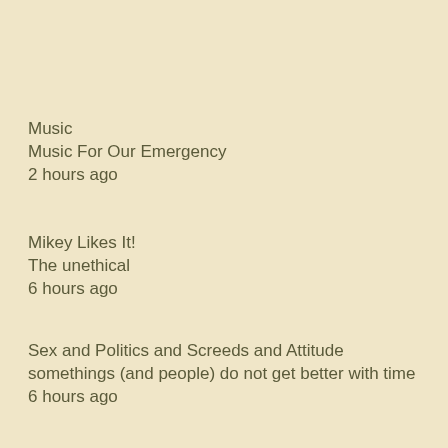Music
Music For Our Emergency
2 hours ago
Mikey Likes It!
The unethical
6 hours ago
Sex and Politics and Screeds and Attitude
somethings (and people) do not get better with time
6 hours ago
Socialist Worker (Britain)
Will striking French trade unions and the Yellow